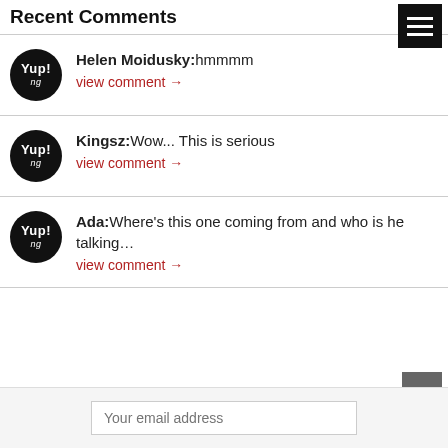Recent Comments
Helen Moidusky: hmmmm — view comment →
Kingsz: Wow... This is serious — view comment →
Ada: Where's this one coming from and who is he talking… — view comment →
Your email address